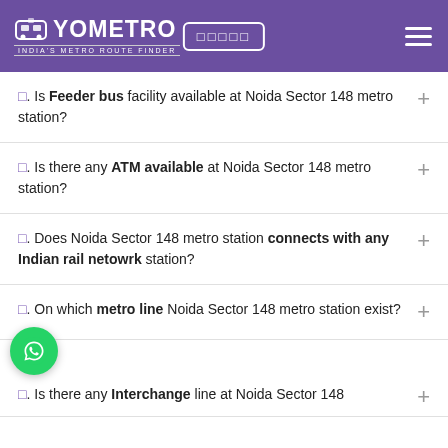YOMETRO - India's Metro Route Finder
Q. Is Feeder bus facility available at Noida Sector 148 metro station?
Q. Is there any ATM available at Noida Sector 148 metro station?
Q. Does Noida Sector 148 metro station connects with any Indian rail netowrk station?
Q. On which metro line Noida Sector 148 metro station exist?
Q. Is there any Interchange line at Noida Sector 148